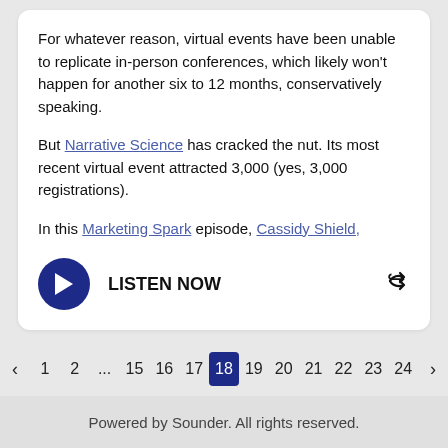For whatever reason, virtual events have been unable to replicate in-person conferences, which likely won't happen for another six to 12 months, conservatively speaking.
But Narrative Science has cracked the nut. Its most recent virtual event attracted 3,000 (yes, 3,000 registrations).
In this Marketing Spark episode, Cassidy Shield,
[Figure (other): Play button with LISTEN NOW label and share icon]
< 1 2 ... 15 16 17 18 19 20 21 22 23 24 >
Go to page  24  Go
Powered by Sounder. All rights reserved.